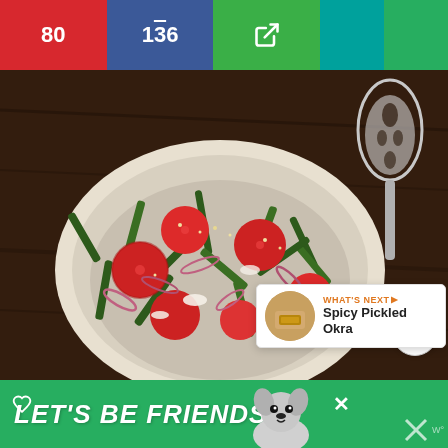[Figure (screenshot): Social media recipe page screenshot showing a food photo of a bowl of roasted okra salad with tomatoes and red onion, a top navigation bar with share counts (80, 136), social action buttons (heart/share with 221 likes), a 'What's Next' panel for Spicy Pickled Okra, and a green 'LET'S BE FRIENDS' banner at the bottom with a dog illustration]